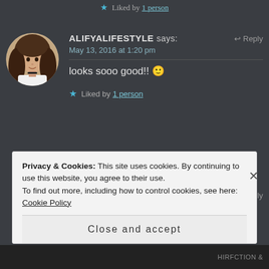★ Liked by 1 person
ALIFYALIFESTYLE says: ↩ Reply
May 13, 2016 at 1:20 pm
looks sooo good!! 🙂
★ Liked by 1 person
[Figure (photo): Circular avatar photo of a woman with long brown hair wearing a white top]
SKD says: ↩ Reply
[Figure (photo): Circular avatar of SKD with user icon overlay]
Privacy & Cookies: This site uses cookies. By continuing to use this website, you agree to their use.
To find out more, including how to control cookies, see here: Cookie Policy
Close and accept